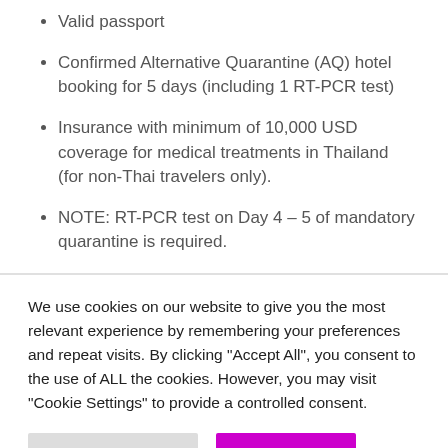Valid passport
Confirmed Alternative Quarantine (AQ) hotel booking for 5 days (including 1 RT-PCR test)
Insurance with minimum of 10,000 USD coverage for medical treatments in Thailand (for non-Thai travelers only).
NOTE: RT-PCR test on Day 4 – 5 of mandatory quarantine is required.
We use cookies on our website to give you the most relevant experience by remembering your preferences and repeat visits. By clicking "Accept All", you consent to the use of ALL the cookies. However, you may visit "Cookie Settings" to provide a controlled consent.